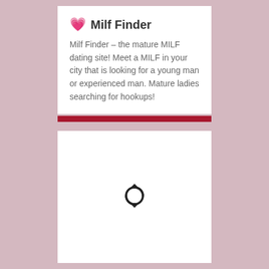💗 Milf Finder
Milf Finder – the mature MILF dating site! Meet a MILF in your city that is looking for a young man or experienced man. Mature ladies searching for hookups!
[Figure (other): Red horizontal divider bar]
[Figure (other): White content card with a circular refresh/sync arrow icon in the center, indicating loading state]